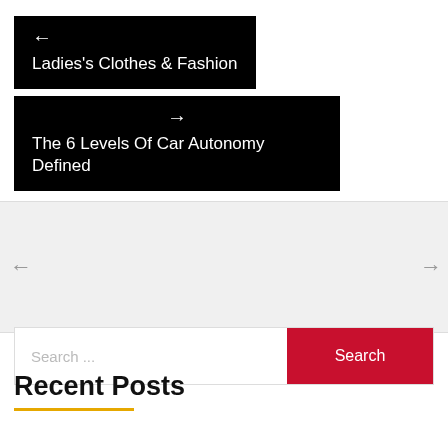← Ladies's Clothes & Fashion
→ The 6 Levels Of Car Autonomy Defined
← →
Search ...
Search
Recent Posts